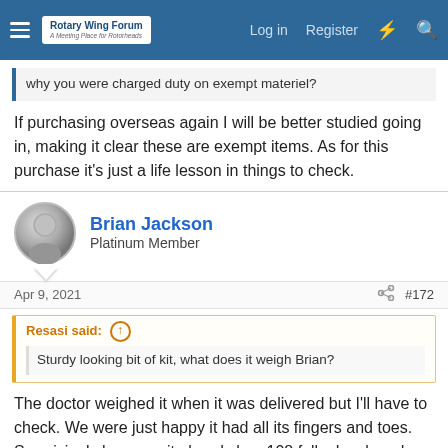Rotary Wing Forum — Log in  Register
why you were charged duty on exempt materiel?
If purchasing overseas again I will be better studied going in, making it clear these are exempt items. As for this purchase it's just a life lesson in things to check.
Brian Jackson
Platinum Member
Apr 9, 2021  #172
Resasi said: ↑
Sturdy looking bit of kit, what does it weigh Brian?
The doctor weighed it when it was delivered but I'll have to check. We were just happy it had all its fingers and toes. Surprisingly however it already has 108 fully developed teeth.
🤣 Resasi